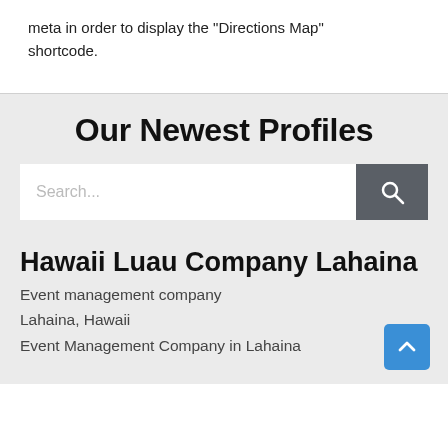meta in order to display the "Directions Map" shortcode.
Our Newest Profiles
[Figure (screenshot): Search bar with text input placeholder 'Search...' and a dark grey search button with magnifying glass icon]
Hawaii Luau Company Lahaina
Event management company
Lahaina, Hawaii
Event Management Company in Lahaina